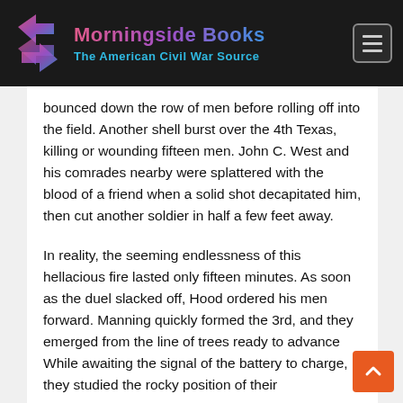Morningside Books — The American Civil War Source
bounced down the row of men before rolling off into the field. Another shell burst over the 4th Texas, killing or wounding fifteen men. John C. West and his comrades nearby were splattered with the blood of a friend when a solid shot decapitated him, then cut another soldier in half a few feet away.
In reality, the seeming endlessness of this hellacious fire lasted only fifteen minutes. As soon as the duel slacked off, Hood ordered his men forward. Manning quickly formed the 3rd, and they emerged from the line of trees ready to advance While awaiting the signal of the battery to charge, they studied the rocky position of their